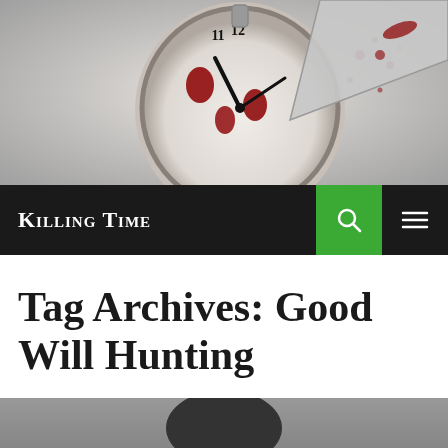[Figure (photo): A blood-spattered pocket watch face with a cleaver or knife blade, dramatic horror-themed header image in color]
Killing Time
Tag Archives: Good Will Hunting
[Figure (photo): Black and white portrait photograph of a man, cropped to head and upper shoulders]
Follow ...